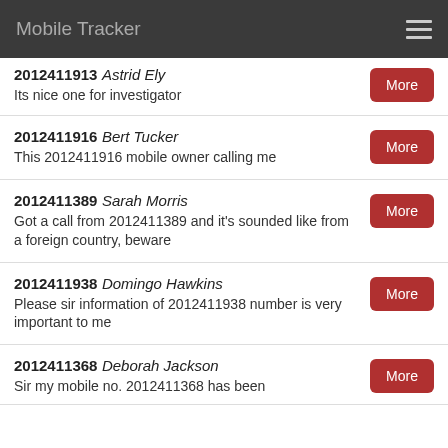Mobile Tracker
2012411913 Astrid Ely
Its nice one for investigator
2012411916 Bert Tucker
This 2012411916 mobile owner calling me
2012411389 Sarah Morris
Got a call from 2012411389 and it's sounded like from a foreign country, beware
2012411938 Domingo Hawkins
Please sir information of 2012411938 number is very important to me
2012411368 Deborah Jackson
Sir my mobile no. 2012411368 has been